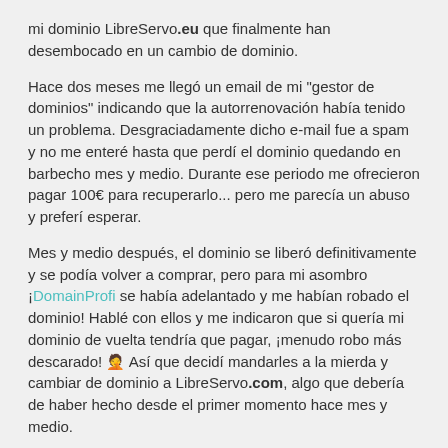mi dominio LibreServo.eu que finalmente han desembocado en un cambio de dominio.
Hace dos meses me llegó un email de mi "gestor de dominios" indicando que la autorrenovación había tenido un problema. Desgraciadamente dicho e-mail fue a spam y no me enteré hasta que perdí el dominio quedando en barbecho mes y medio. Durante ese periodo me ofrecieron pagar 100€ para recuperarlo... pero me parecía un abuso y preferí esperar.
Mes y medio después, el dominio se liberó definitivamente y se podía volver a comprar, pero para mi asombro ¡DomainProfi se había adelantado y me habían robado el dominio! Hablé con ellos y me indicaron que si quería mi dominio de vuelta tendría que pagar, ¡menudo robo más descarado! 🤦 Así que decidí mandarles a la mierda y cambiar de dominio a LibreServo.com, algo que debería de haber hecho desde el primer momento hace mes y medio.
...algo más LibreS...